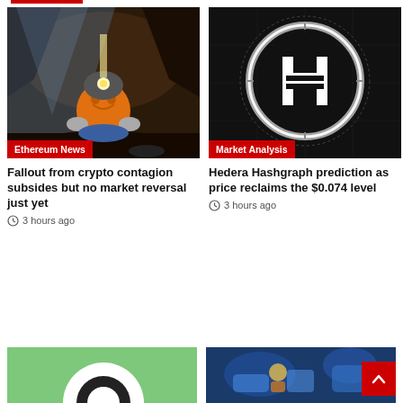[Figure (photo): Crypto miner cartoon character with glowing helmet in a cave, orange pumpkin-like figure mining]
Ethereum News
[Figure (logo): Hedera Hashgraph logo — large H letter inside glowing circular ring on dark background]
Market Analysis
Fallout from crypto contagion subsides but no market reversal just yet
3 hours ago
Hedera Hashgraph prediction as price reclaims the $0.074 level
3 hours ago
[Figure (photo): Green background with white/black circular object, partially visible]
[Figure (photo): Blue-toned image with hands and cartoon/digital figures]